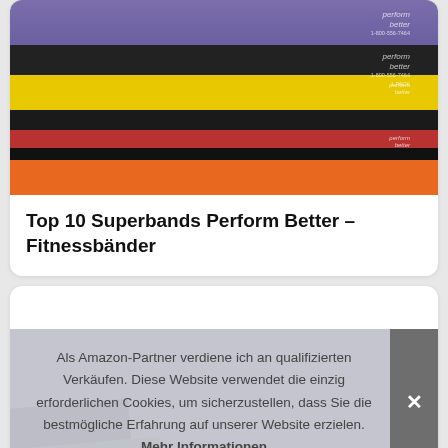[Figure (photo): Stacked fitness resistance bands in multiple colors: purple, black, yellow, black, red, black, and orange, arranged horizontally with brand labels visible on right side.]
Top 10 Superbands Perform Better – Fitnessbänder
[Figure (photo): Bottom portion of a second card showing fitness band equipment including a black and green resistance band.]
Als Amazon-Partner verdiene ich an qualifizierten Verkäufen. Diese Website verwendet die einzig erforderlichen Cookies, um sicherzustellen, dass Sie die bestmögliche Erfahrung auf unserer Website erzielen. Mehr Informationen